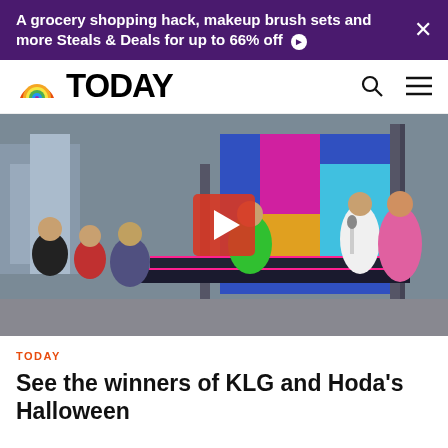A grocery shopping hack, makeup brush sets and more Steals & Deals for up to 66% off
[Figure (logo): TODAY show logo with rainbow semicircle icon and bold TODAY text, plus search and hamburger menu icons]
[Figure (photo): Outdoor scene at Rockefeller Plaza with people in Halloween costumes on a stage set with colorful backdrop, orange carpet, and a play button overlay indicating a video]
TODAY
See the winners of KLG and Hoda's Halloween